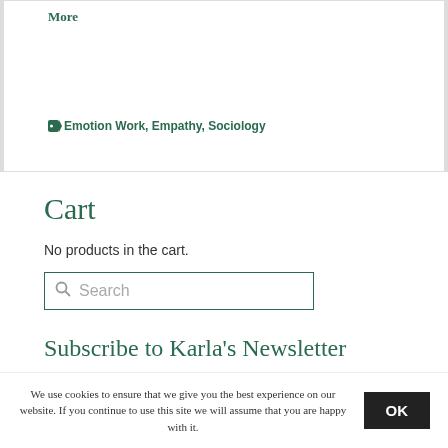More
🏷 Emotion Work, Empathy, Sociology
Cart
No products in the cart.
Search
Subscribe to Karla's Newsletter
We use cookies to ensure that we give you the best experience on our website. If you continue to use this site we will assume that you are happy with it.